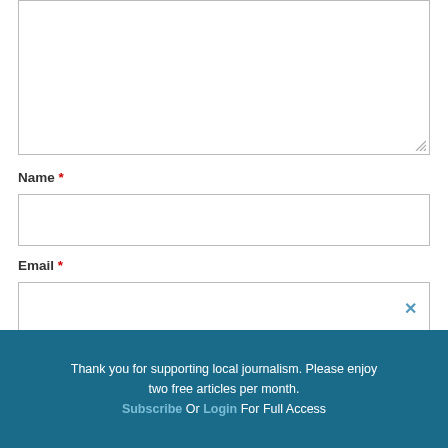[Figure (screenshot): Textarea input box (comment field) with resize handle at bottom-right]
Name *
[Figure (screenshot): Name text input field, empty]
Email *
[Figure (screenshot): Email text input field with clear (×) icon on the right]
Thank you for supporting local journalism. Please enjoy two free articles per month. Subscribe Or Login For Full Access